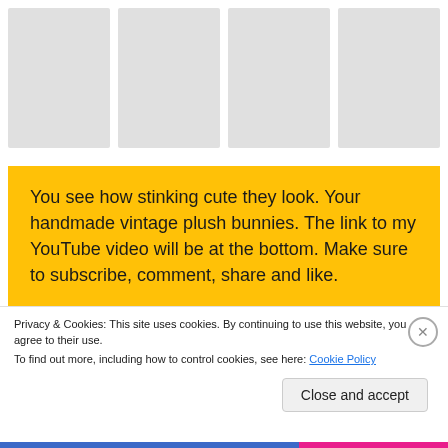[Figure (other): Four gray placeholder image boxes arranged in a horizontal row]
You see how stinking cute they look. Your handmade vintage plush bunnies. The link to my YouTube video will be at the bottom. Make sure to subscribe, comment, share and like.
Privacy & Cookies: This site uses cookies. By continuing to use this website, you agree to their use.
To find out more, including how to control cookies, see here: Cookie Policy
Close and accept